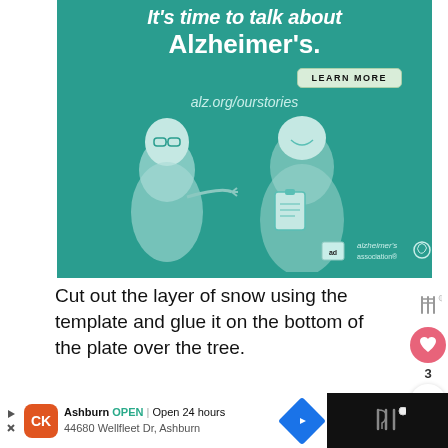[Figure (illustration): Alzheimer's Association advertisement banner with teal background, showing two illustrated people (an older man with glasses and a younger person), text 'It's time to talk about Alzheimer's.', a LEARN MORE button, alz.org/ourstories URL, and Alzheimer's Association logo.]
Cut out the layer of snow using the template and glue it on the bottom of the plate over the tree.
[Figure (photo): Partial photo/banner below the text, showing what appears to be a plate craft project. A 'WHAT'S NEXT' overlay shows a thumbnail and text 'Winter Wonderland...']
[Figure (infographic): Bottom advertisement bar showing Ashburn location info: 'Ashburn OPEN | Open 24 hours, 44680 Wellfleet Dr, Ashburn' with CK logo, navigation icon, and Tastemade/fork icon on black background.]